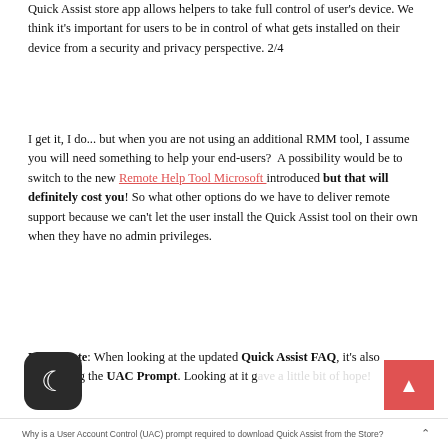Quick Assist store app allows helpers to take full control of user's device. We think it's important for users to be in control of what gets installed on their device from a security and privacy perspective. 2/4
I get it, I do... but when you are not using an additional RMM tool, I assume you will need something to help your end-users?  A possibility would be to switch to the new Remote Help Tool Microsoft introduced but that will definitely cost you! So what other options do we have to deliver remote support because we can't let the user install the Quick Assist tool on their own when they have no admin privileges.
Please note: When looking at the updated Quick Assist FAQ, it's also mentioning the UAC Prompt. Looking at it gave a little bit of hope!
Why is a User Account Control (UAC) prompt required to download Quick Assist from the Store?